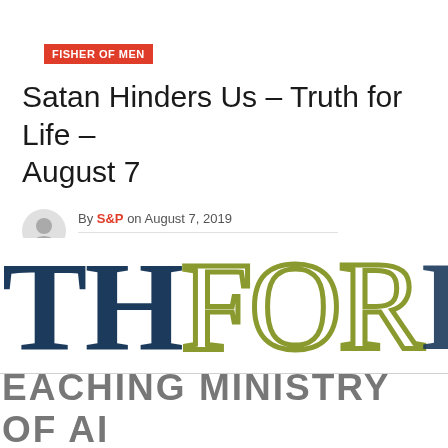FISHER OF MEN
Satan Hinders Us – Truth for Life – August 7
By S&P on August 7, 2019
No Comments / 766 views
[Figure (logo): Truth for Life logo — large bold serif letters 'TH' in dark navy, 'FOR' in olive/yellow outline style, partial 'L' cut off on right; below: 'EACHING MINISTRY OF A' in bold grey caps, partially cropped on both sides]